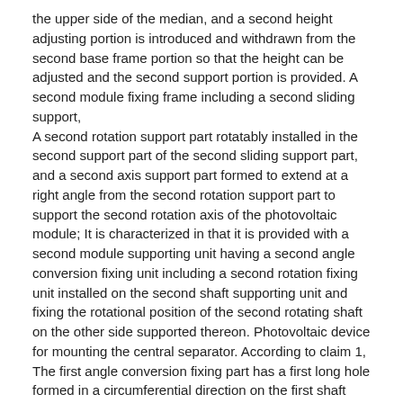the upper side of the median, and a second height adjusting portion is introduced and withdrawn from the second base frame portion so that the height can be adjusted and the second support portion is provided. A second module fixing frame including a second sliding support,
A second rotation support part rotatably installed in the second support part of the second sliding support part, and a second axis support part formed to extend at a right angle from the second rotation support part to support the second rotation axis of the photovoltaic module; It is characterized in that it is provided with a second module supporting unit having a second angle conversion fixing unit including a second rotation fixing unit installed on the second shaft supporting unit and fixing the rotational position of the second rotating shaft on the other side supported thereon. Photovoltaic device for mounting the central separator. According to claim 1,
The first angle conversion fixing part has a first long hole formed in a circumferential direction on the first shaft support portion, a first through hole is formed in the first rotation shaft, and a head portion is inserted into the first long hole and the first through hole. A solar power generator for mounting a central separator, comprising a first coupling member and a first tightening member screwed to the first coupling member.